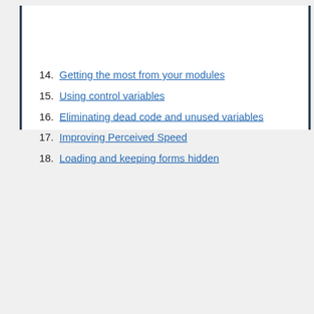14. Getting the most from your modules
15. Using control variables
16. Eliminating dead code and unused variables
17. Improving Perceived Speed
18. Loading and keeping forms hidden